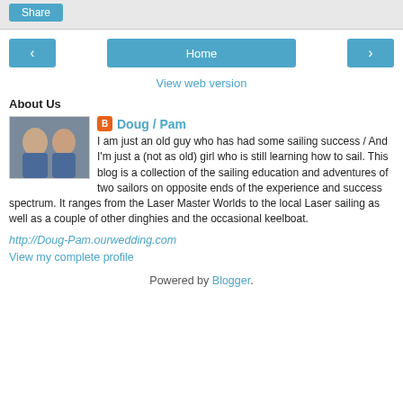Share
[Figure (screenshot): Navigation row with left arrow button, Home button, and right arrow button]
View web version
About Us
[Figure (photo): Photo of Doug and Pam, a couple, smiling in blue shirts]
Doug / Pam
I am just an old guy who has had some sailing success / And I'm just a (not as old) girl who is still learning how to sail. This blog is a collection of the sailing education and adventures of two sailors on opposite ends of the experience and success spectrum. It ranges from the Laser Master Worlds to the local Laser sailing as well as a couple of other dinghies and the occasional keelboat.
http://Doug-Pam.ourwedding.com
View my complete profile
Powered by Blogger.